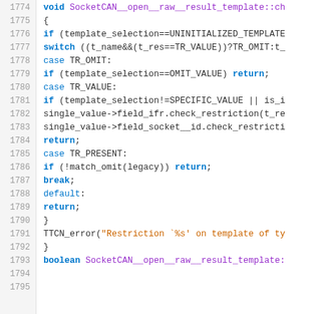Source code listing, lines 1774-1795, C++ code for SocketCAN template restriction checking